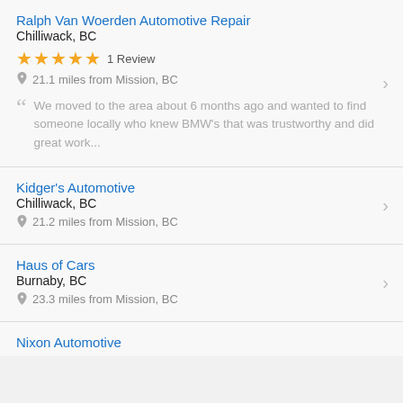Ralph Van Woerden Automotive Repair
Chilliwack, BC
★★★★★ 1 Review
21.1 miles from Mission, BC
We moved to the area about 6 months ago and wanted to find someone locally who knew BMW's that was trustworthy and did great work...
Kidger's Automotive
Chilliwack, BC
21.2 miles from Mission, BC
Haus of Cars
Burnaby, BC
23.3 miles from Mission, BC
Nixon Automotive